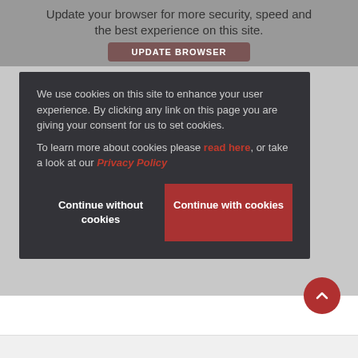Update your browser for more security, speed and the best experience on this site.
[Figure (screenshot): UPDATE BROWSER button in dark red/brown rounded rectangle]
We use cookies on this site to enhance your user experience. By clicking any link on this page you are giving your consent for us to set cookies.
To learn more about cookies please read here, or take a look at our Privacy Policy
Continue without cookies
Continue with cookies
[Figure (illustration): Red circular scroll-to-top button with upward chevron arrow]